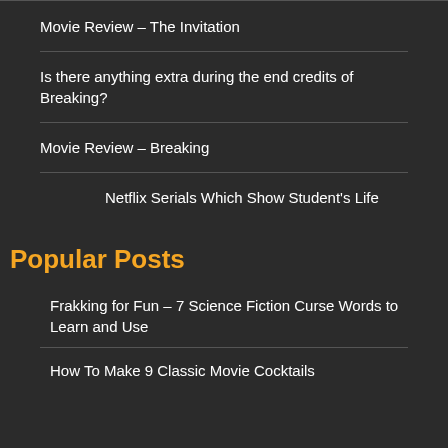Movie Review – The Invitation
Is there anything extra during the end credits of Breaking?
Movie Review – Breaking
Netflix Serials Which Show Student's Life
Popular Posts
Frakking for Fun – 7 Science Fiction Curse Words to Learn and Use
How To Make 9 Classic Movie Cocktails